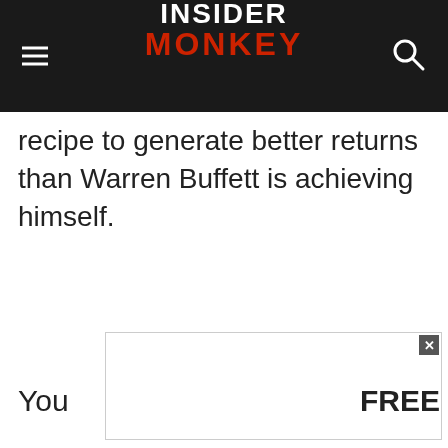INSIDER MONKEY
recipe to generate better returns than Warren Buffett is achieving himself.
[Figure (screenshot): Advertisement overlay box with close button (x), partial text 'You' on left and 'FREE' on right]